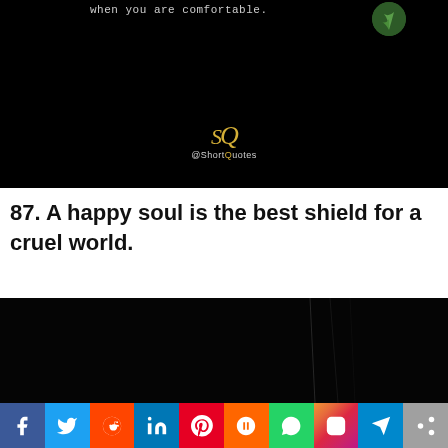[Figure (photo): Dark/black background image with text 'when you are comfortable.' and a small plant/sprout in a circular frame, with @ShortQuotes logo (SQ letters in gold) at the bottom center]
87. A happy soul is the best shield for a cruel world.
[Figure (photo): Dark/black background image with faint thin lines visible]
[Figure (infographic): Social media sharing bar with icons: Facebook, Twitter, Reddit, LinkedIn, Pinterest, Mix, WhatsApp, Instagram, Telegram, Share]